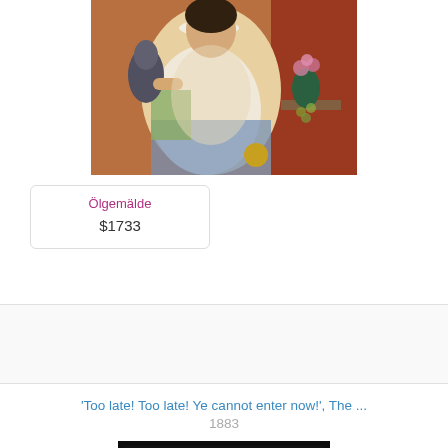[Figure (photo): Painting of a woman in ornate dress holding a parrot, with flowers and fruit in the background]
Ölgemälde
$1733
'Too late! Too late! Ye cannot enter now!', The ...
1883
[Figure (photo): Dark artwork image, partially visible]